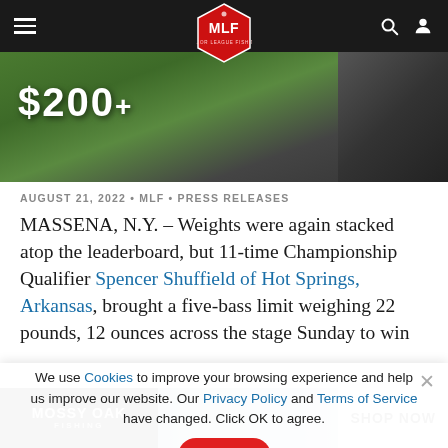MLF - Major League Fishing navigation bar
[Figure (photo): Outdoor fishing tournament stage photo showing a '$200+' banner and equipment in natural setting]
AUGUST 21, 2022 • MLF • PRESS RELEASES
MASSENA, N.Y. – Weights were again stacked atop the leaderboard, but 11-time Championship Qualifier Spencer Shuffield of Hot Springs, Arkansas, brought a five-bass limit weighing 22 pounds, 12 ounces across the stage Sunday to win
We use Cookies to improve your browsing experience and help us improve our website. Our Privacy Policy and Terms of Service have changed. Click OK to agree.
[Figure (photo): Mossy Oak Fishing advertisement banner showing a fisherman casting with 'SHOP NOW' text]